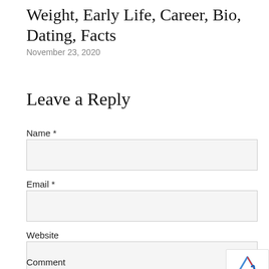Weight, Early Life, Career, Bio, Dating, Facts
November 23, 2020
Leave a Reply
Name *
Email *
Website
Comment